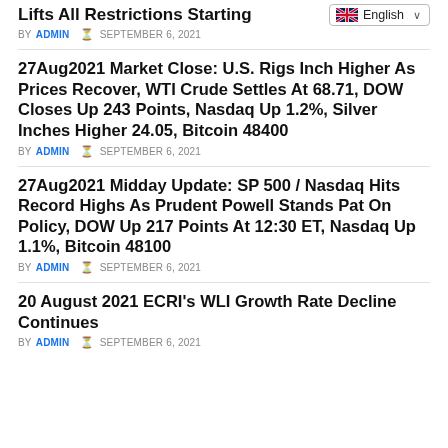Lifts All Restrictions Starting
BY ADMIN  © SEPTEMBER 6, 2021
27Aug2021 Market Close: U.S. Rigs Inch Higher As Prices Recover, WTI Crude Settles At 68.71, DOW Closes Up 243 Points, Nasdaq Up 1.2%, Silver Inches Higher 24.05, Bitcoin 48400
BY ADMIN  © SEPTEMBER 6, 2021
27Aug2021 Midday Update: SP 500 / Nasdaq Hits Record Highs As Prudent Powell Stands Pat On Policy, DOW Up 217 Points At 12:30 ET, Nasdaq Up 1.1%, Bitcoin 48100
BY ADMIN  © SEPTEMBER 6, 2021
20 August 2021 ECRI's WLI Growth Rate Decline Continues
BY ADMIN  © SEPTEMBER 6, 2021